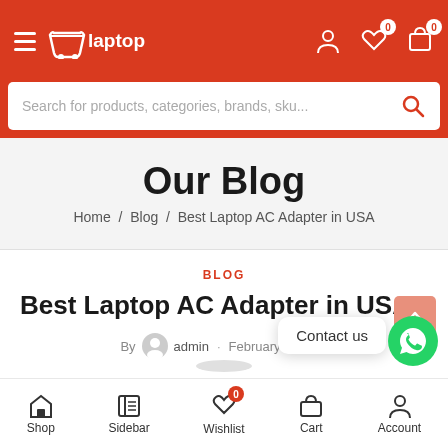Laptop shop header navigation with hamburger menu, logo, user/wishlist/cart icons
Search for products, categories, brands, sku...
Our Blog
Home / Blog / Best Laptop AC Adapter in USA
BLOG
Best Laptop AC Adapter in USA
By admin · February 2, 2022
Shop  Sidebar  Wishlist 0  Cart  Account